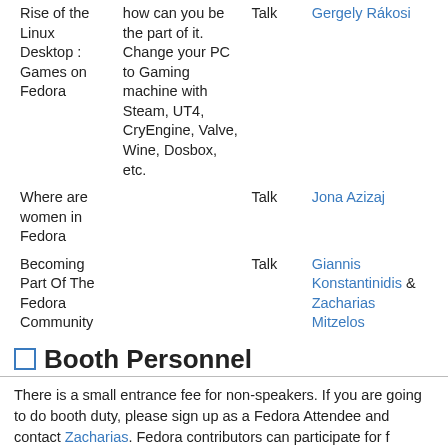| Title | Description | Type | Speaker |
| --- | --- | --- | --- |
| Rise of the Linux Desktop : Games on Fedora | how can you be the part of it. Change your PC to Gaming machine with Steam, UT4, CryEngine, Valve, Wine, Dosbox, etc. | Talk | Gergely Rákosi |
| Where are women in Fedora |  | Talk | Jona Azizaj |
| Becoming Part Of The Fedora Community |  | Talk | Giannis Konstantinidis & Zacharias Mitzelos |
Booth Personnel
There is a small entrance fee for non-speakers. If you are going to do booth duty, please sign up as a Fedora Attendee and contact Zacharias. Fedora contributors can participate for f...